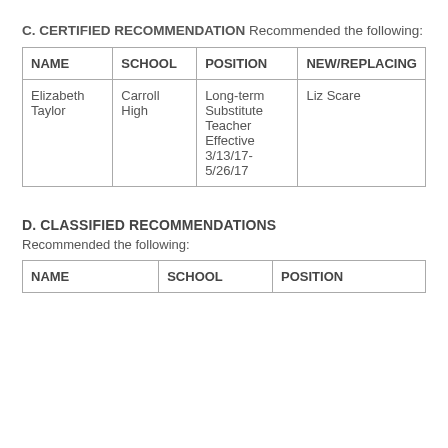C. CERTIFIED RECOMMENDATION Recommended the following:
| NAME | SCHOOL | POSITION | NEW/REPLACING |
| --- | --- | --- | --- |
| Elizabeth Taylor | Carroll High | Long-term Substitute Teacher Effective 3/13/17-5/26/17 | Liz Scare |
D. CLASSIFIED RECOMMENDATIONS
Recommended the following:
| NAME | SCHOOL | POSITION |
| --- | --- | --- |